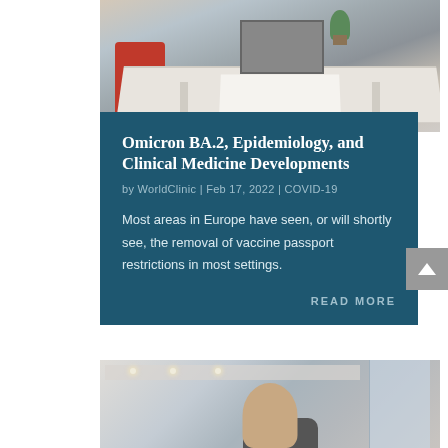[Figure (photo): Office or meeting room scene showing a white desk with papers, a laptop or tablet, a small plant, and a red chair. People partially visible in the background.]
Omicron BA.2, Epidemiology, and Clinical Medicine Developments
by WorldClinic | Feb 17, 2022 | COVID-19
Most areas in Europe have seen, or will shortly see, the removal of vaccine passport restrictions in most settings.
READ MORE
[Figure (photo): Person in a business setting, partially visible, appearing to be in an office environment with windows and ceiling lights visible.]